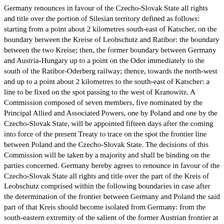Germany renounces in favour of the Czecho-Slovak State all rights and title over the portion of Silesian territory defined as follows: starting from a point about 2 kilometres south-east of Katscher, on the boundary between the Kreise of Leobschutz and Ratibor: the boundary between the two Kreise; then, the former boundary between Germany and Austria-Hungary up to a point on the Oder immediately to the south of the Ratibor-Oderberg railway; thence, towards the north-west and up to a point about 2 kilometres to the south-east of Katscher: a line to be fixed on the spot passing to the west of Kranowitz. A Commission composed of seven members, five nominated by the Principal Allied and Associated Powers, one by Poland and one by the Czecho-Slovak State, will be appointed fifteen days after the coming into force of the present Treaty to trace on the spot the frontier line between Poland and the Czecho-Slovak State. The decisions of this Commission will be taken by a majority and shall be binding on the parties concerned. Germany hereby agrees to renounce in favour of the Czecho-Slovak State all rights and title over the part of the Kreis of Leobschutz comprised within the following boundaries in case after the determination of the frontier between Germany and Poland the said part of that Kreis should become isolated from Germany: from the south-eastern extremity of the salient of the former Austrian frontier at about 5 kilometres to the west of Leobschutz southwards and up to the point of junction with